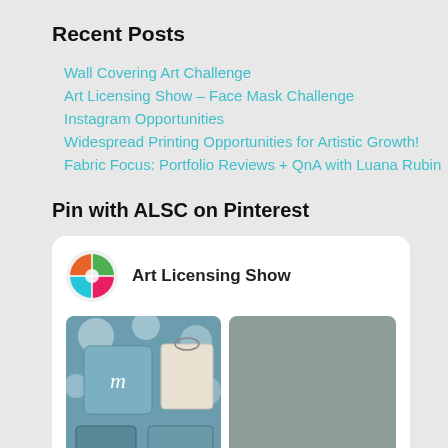Recent Posts
Wall Covering Art Challenge
Art Licensing Show – Face Mask Challenge
Instagram Opportunities
Widespread Printing Opportunities for Artistic Growth!
Fabric Focus: Portfolio Reviews + QnA with Luana Rubin
Pin with ALSC on Pinterest
[Figure (screenshot): Pinterest widget showing Art Licensing Show profile with logo (colorful pie-chart circle logo) and a grid of pinned images including floral product shots and placeholder gray tiles.]